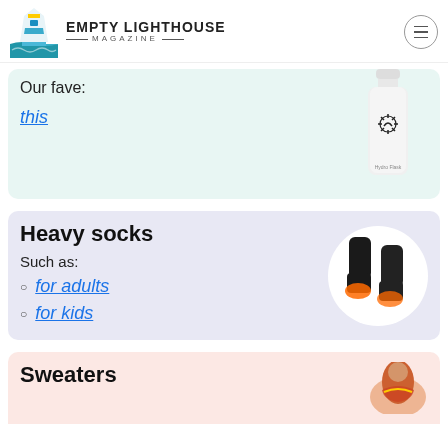EMPTY LIGHTHOUSE MAGAZINE
Our fave:
this
[Figure (photo): White Hydro Flask water bottle on a mint green background]
Heavy socks
Such as:
for adults
for kids
[Figure (photo): Two black heated socks with orange glowing soles in a circular white frame on light purple background]
Sweaters